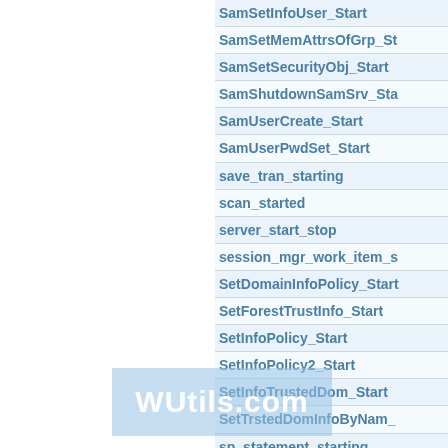SamSetInfoUser_Start
SamSetMemAttrsOfGrp_St
SamSetSecurityObj_Start
SamShutdownSamSrv_Sta
SamUserCreate_Start
SamUserPwdSet_Start
save_tran_starting
scan_started
server_start_stop
session_mgr_work_item_s
SetDomainInfoPolicy_Start
SetForestTrustInfo_Start
SetInfoPolicy_Start
SetInfoPolicy2_Start
SetInfoTrustedDom_Start
SetTrstedDomInfoByNam_
sp_statement_starting
sql_batch_starting
sql_...
task_started